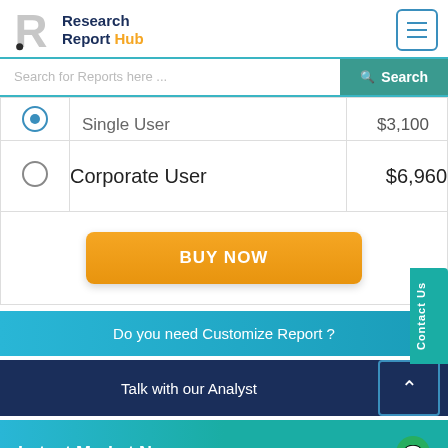Research Report Hub
Search for Reports here ...
|  |  |  |
| --- | --- | --- |
| (radio) | Single User | $3,100 |
| (radio) | Corporate User | $6,960 |
BUY NOW
Do you need Customize Report ?
Talk with our Analyst
Latest Market News